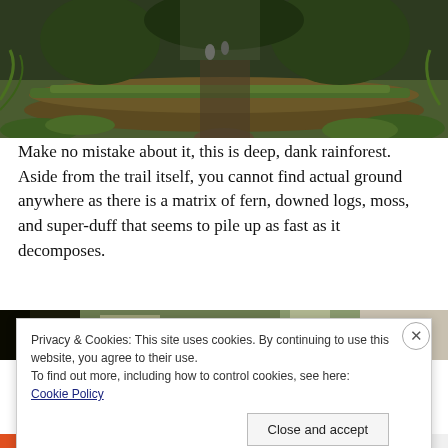[Figure (photo): Forest trail photo showing a mossy fallen log across a path in a dense, dark rainforest with ferns and green vegetation. Two figures (possibly dogs or people) visible in the background on the trail.]
Make no mistake about it, this is deep, dank rainforest. Aside from the trail itself, you cannot find actual ground anywhere as there is a matrix of fern, downed logs, moss, and super-duff that seems to pile up as fast as it decomposes.
[Figure (photo): Partial view of another forest photo, showing trees and light through canopy, partially obscured by cookie consent banner.]
Privacy & Cookies: This site uses cookies. By continuing to use this website, you agree to their use.
To find out more, including how to control cookies, see here: Cookie Policy
[Close and accept]